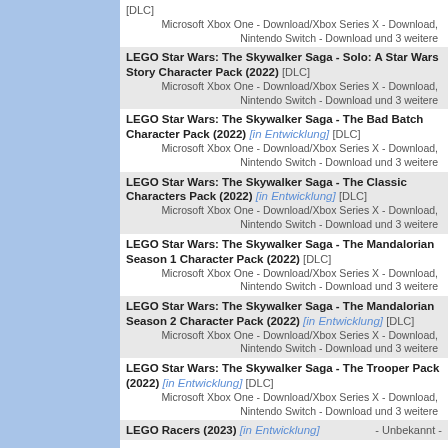[DLC] Microsoft Xbox One - Download/Xbox Series X - Download, Nintendo Switch - Download und 3 weitere
LEGO Star Wars: The Skywalker Saga - Solo: A Star Wars Story Character Pack (2022) [DLC] Microsoft Xbox One - Download/Xbox Series X - Download, Nintendo Switch - Download und 3 weitere
LEGO Star Wars: The Skywalker Saga - The Bad Batch Character Pack (2022) [in Entwicklung] [DLC] Microsoft Xbox One - Download/Xbox Series X - Download, Nintendo Switch - Download und 3 weitere
LEGO Star Wars: The Skywalker Saga - The Classic Characters Pack (2022) [in Entwicklung] [DLC] Microsoft Xbox One - Download/Xbox Series X - Download, Nintendo Switch - Download und 3 weitere
LEGO Star Wars: The Skywalker Saga - The Mandalorian Season 1 Character Pack (2022) [DLC] Microsoft Xbox One - Download/Xbox Series X - Download, Nintendo Switch - Download und 3 weitere
LEGO Star Wars: The Skywalker Saga - The Mandalorian Season 2 Character Pack (2022) [in Entwicklung] [DLC] Microsoft Xbox One - Download/Xbox Series X - Download, Nintendo Switch - Download und 3 weitere
LEGO Star Wars: The Skywalker Saga - The Trooper Pack (2022) [in Entwicklung] [DLC] Microsoft Xbox One - Download/Xbox Series X - Download, Nintendo Switch - Download und 3 weitere
LEGO Racers (2023) [in Entwicklung] - Unbekannt -
(c) Online Games-Datenbank 2003-2018 Built on PHP, MySQL, Smarty, and jQuery. 0.0241 sec Bitte beachten Sie die rechtlichen Hinweise sowie unsere Datenschutzerklärung